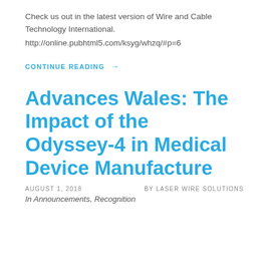Check us out in the latest version of Wire and Cable Technology International.
http://online.pubhtml5.com/ksyg/whzq/#p=6
CONTINUE READING →
Advances Wales: The Impact of the Odyssey-4 in Medical Device Manufacture
AUGUST 1, 2018    BY LASER WIRE SOLUTIONS
In Announcements, Recognition